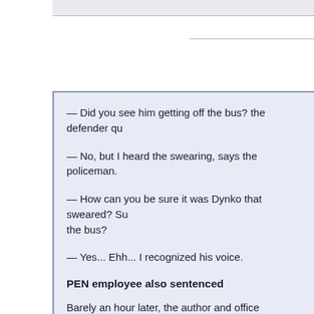— Did you see him getting off the bus? the defender qu
— No, but I heard the swearing, says the policeman.
— How can you be sure it was Dynko that sweared? Su the bus?
— Yes... Ehh... I recognized his voice.
PEN employee also sentenced
Barely an hour later, the author and office manager of th Darafeichuk, is escorted out to the prisoner transportatio also alleged to have sweared.
— Seven days. It's madness, she has time to say.
It is a crime in Belarussia to use especially profane word